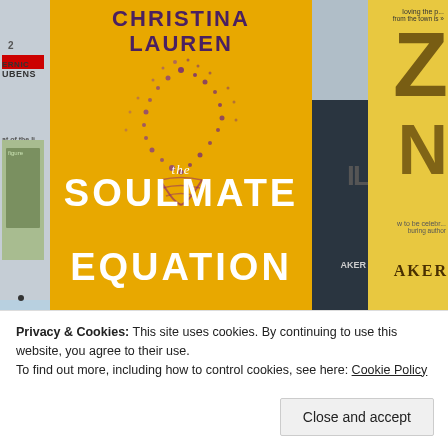[Figure (photo): Photo of a book store window display showing the book 'The Soulmate Equation' by Christina Lauren with yellow cover and purple DNA/dot design, surrounded by other books]
Privacy & Cookies: This site uses cookies. By continuing to use this website, you agree to their use.
To find out more, including how to control cookies, see here: Cookie Policy
Close and accept